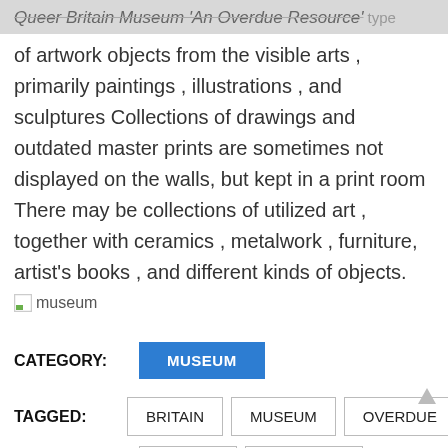Queer Britain Museum 'An Overdue Resource' type
of artwork objects from the visible arts , primarily paintings , illustrations , and sculptures Collections of drawings and outdated master prints are sometimes not displayed on the walls, but kept in a print room There may be collections of utilized art , together with ceramics , metalwork , furniture, artist's books , and different kinds of objects.
[Figure (photo): Broken image placeholder with label 'museum']
CATEGORY:
MUSEUM
TAGGED:
BRITAIN   MUSEUM   OVERDUE